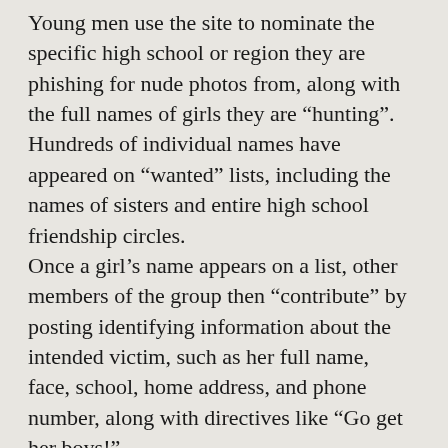Young men use the site to nominate the specific high school or region they are phishing for nude photos from, along with the full names of girls they are “hunting”. Hundreds of individual names have appeared on “wanted” lists, including the names of sisters and entire high school friendship circles.
Once a girl’s name appears on a list, other members of the group then “contribute” by posting identifying information about the intended victim, such as her full name, face, school, home address, and phone number, along with directives like “Go get her boys!”
Any “wins” (a colloquial term referring to nude photos) of the nominated target are then uploaded or offered in exchange for a trade. Some targets are so sought after that “bounties” have